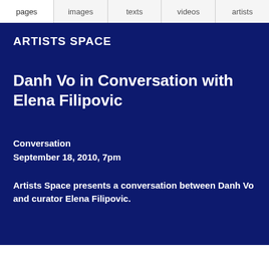pages | images | texts | videos | artists
ARTISTS SPACE
Danh Vo in Conversation with Elena Filipovic
Conversation
September 18, 2010, 7pm
Artists Space presents a conversation between Danh Vo and curator Elena Filipovic.
[Figure (screenshot): Bottom portion showing a dark browser chrome with a white content area partially visible]